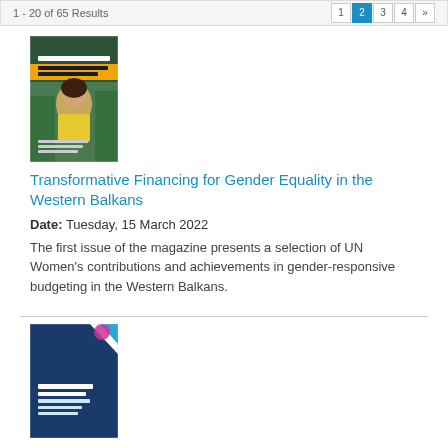1-20 of 65 Results  1 2 3 4 »
[Figure (illustration): Book cover of 'Transformative Financing for Gender Equality in the Western Balkans' showing a person in a yellow sweater outdoors, with green and yellow design elements]
Transformative Financing for Gender Equality in the Western Balkans
Date: Tuesday, 15 March 2022
The first issue of the magazine presents a selection of UN Women's contributions and achievements in gender-responsive budgeting in the Western Balkans.
[Figure (illustration): Book cover with blue and dark blue diagonal design with small text and a pink/purple accent element]